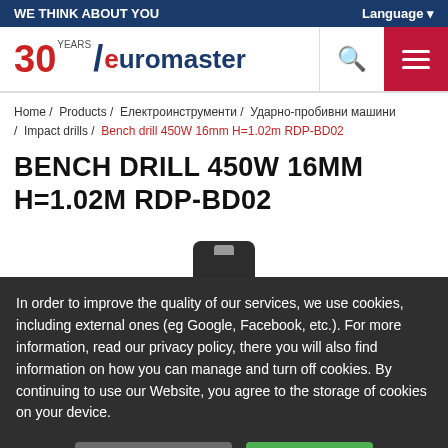WE THINK ABOUT YOU | Language
[Figure (logo): Euromaster 30 Years logo with red and blue colors]
Home / Products / Електроинструменти / Ударно-пробивни машини / Impact drills / Bench drill 450W 16mm H=1.02m RDP-BD02
BENCH DRILL 450W 16MM H=1.02M RDP-BD02
[Figure (photo): Bench drill product photo partially visible]
In order to improve the quality of our services, we use cookies, including external ones (eg Google, Facebook, etc.). For more information, read our privacy policy, there you will also find information on how you can manage and turn off cookies. By continuing to use our Website, you agree to the storage of cookies on your device.
Cookie policy | Agree